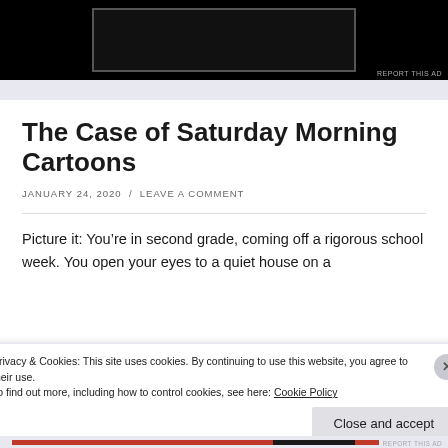[Figure (photo): Black image area at top of page with a dark rectangular frame/border]
REPORT THIS AD
The Case of Saturday Morning Cartoons
JANUARY 24, 2020  /  LEAVE A COMMENT
Picture it: You’re in second grade, coming off a rigorous school week. You open your eyes to a quiet house on a
Privacy & Cookies: This site uses cookies. By continuing to use this website, you agree to their use.
To find out more, including how to control cookies, see here: Cookie Policy
Close and accept